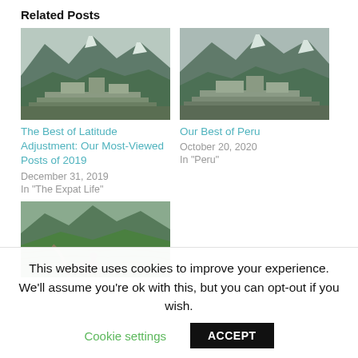Related Posts
[Figure (photo): Aerial view of Machu Picchu ruins with green terraces and mountain peaks in the background]
The Best of Latitude Adjustment: Our Most-Viewed Posts of 2019
December 31, 2019
In "The Expat Life"
[Figure (photo): Aerial view of Machu Picchu ruins with mountain peaks, similar angle]
Our Best of Peru
October 20, 2020
In "Peru"
[Figure (photo): Green terraced hillside with llama in foreground, Andean mountains]
This website uses cookies to improve your experience. We'll assume you're ok with this, but you can opt-out if you wish.
Cookie settings
ACCEPT